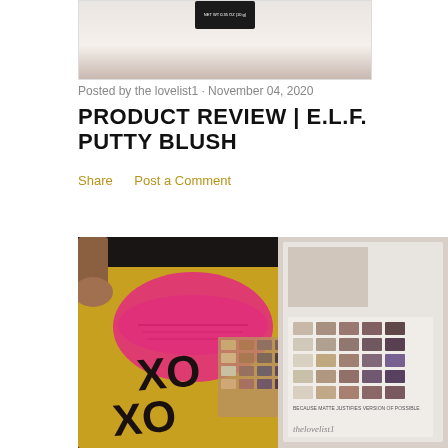[Figure (photo): Top portion of a product photo showing a black makeup compact/eyeshadow with text and weight label, against a light background]
Posted by the lovelist1 · November 04, 2020
PRODUCT REVIEW | E.L.F. PUTTY BLUSH
Share    Post a Comment
[Figure (photo): Photo of beauty/makeup products including a gold compact with pink lips and XOXO text, eyeshadow palette, and other makeup items arranged on a surface]